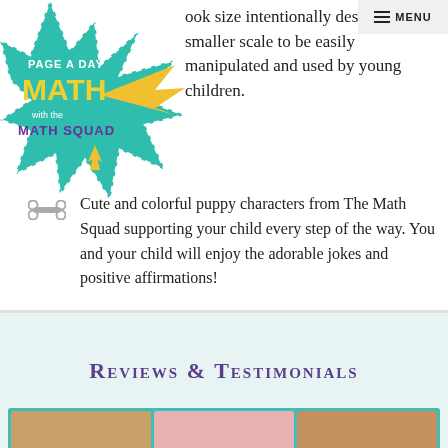[Figure (logo): Page A Day Math with the Math Squad logo — teal star/splash shape with yellow arrow, 'PAGE A DAY' in white, 'MATH' in large yellow letters, 'with the MATH SQUAD' in purple/white text]
ook size intentionally designed on a smaller scale to be easily manipulated and used by young children.
Cute and colorful puppy characters from The Math Squad supporting your child every step of the way. You and your child will enjoy the adorable jokes and positive affirmations!
Reviews & Testimonials
[Figure (photo): Partial view of review/testimonial images at the bottom of the page]